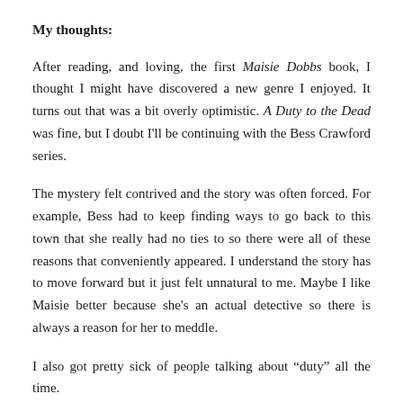My thoughts:
After reading, and loving, the first Maisie Dobbs book, I thought I might have discovered a new genre I enjoyed. It turns out that was a bit overly optimistic. A Duty to the Dead was fine, but I doubt I'll be continuing with the Bess Crawford series.
The mystery felt contrived and the story was often forced. For example, Bess had to keep finding ways to go back to this town that she really had no ties to so there were all of these reasons that conveniently appeared. I understand the story has to move forward but it just felt unnatural to me. Maybe I like Maisie better because she's an actual detective so there is always a reason for her to meddle.
I also got pretty sick of people talking about “duty” all the time.